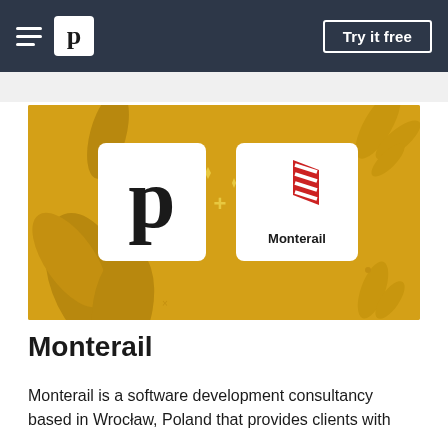p  Try it free
[Figure (illustration): Yellow/gold background hero image showing two white rounded-corner cards side by side: left card with a large bold 'p' logo (Pricelist/app logo), a '+' sign, and right card with a red stylized flag/arrow logo and 'Monterail' text. Decorative leaf/plant silhouettes in darker gold are behind the cards.]
Monterail
Monterail is a software development consultancy based in Wrocław, Poland that provides clients with